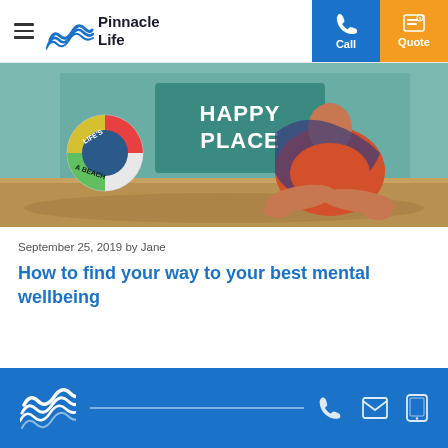Pinnacle Life — navigation header with Call and Quote buttons
[Figure (photo): Woman in red dress sitting cross-legged on sandy ground in front of a teal wall with 'HAPPY PLACE' sign and a life preserver ring reading 'LIFE'S A BEACH']
September 25, 2019 by Jane
How to find your way to your best mental wellbeing
Pinnacle Life footer with phone, email, and tablet icons